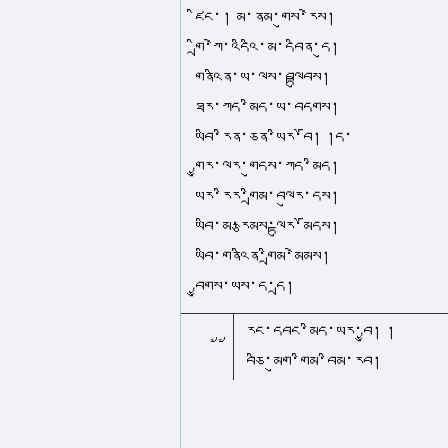ཛིང་། མ་ན་མ་གུས་རེས་གྲི་ཀེ་འདིའི་མ་དནིན་དུ་གནའིན་ཡ་ལས་བལྟུབས། ཐར་ཀད་མིད་ཡ་བདགས། ཡབི་རིན་ཅན་ཡིར་བོ། །ད་གྱུར་ལར་གུདས་ཀད་མིད་ཡར་རིར་གྲིམ་བལུར་དས། ཡབི་མ་རྩམས་ལྟུར་མོདས། ཡབི་གནའིན་གྲིམ་མེམས། བྱུགས་ཡས་ད་དྲ།
རང་དབང་མིད་ཡར་བྱུ། །བཅི་མུག་གིམ་བིམ་རབ།